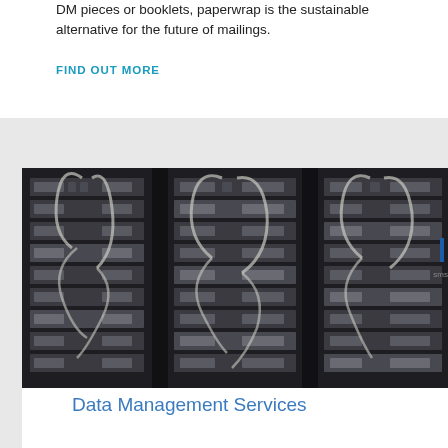DM pieces or booklets, paperwrap is the sustainable alternative for the future of mailings.
FIND OUT MORE
[Figure (photo): Server rack equipment with cables and hardware modules arranged in a data center]
Data Management Services